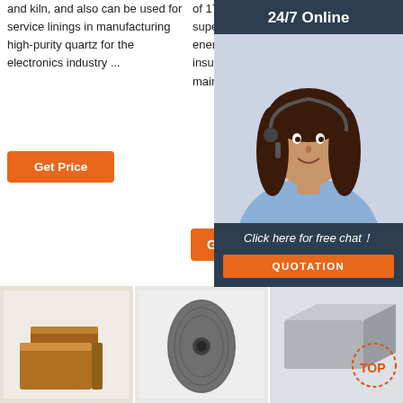and kiln, and also can be used for service linings in manufacturing high-purity quartz for the electronics industry ...
of 1750°C, which is a kind of super high temperature energy saving and heating insulation material. Bubble mainly blast fu linings
[Figure (screenshot): 24/7 Online chat widget with female customer service agent photo, 'Click here for free chat!' message, and orange QUOTATION button]
[Figure (photo): Brown ceramic/refractory brick blocks]
[Figure (photo): Gray oval ceramic or graphite piece with central hole]
[Figure (photo): Gray rectangular refractory block with TOP watermark logo]